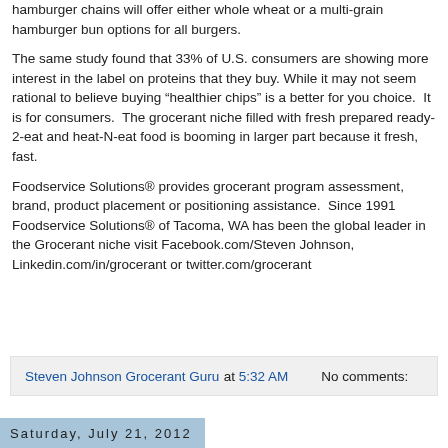hamburger chains will offer either whole wheat or a multi-grain hamburger bun options for all burgers.
The same study found that 33% of U.S. consumers are showing more interest in the label on proteins that they buy. While it may not seem rational to believe buying “healthier chips” is a better for you choice.  It is for consumers.  The grocerant niche filled with fresh prepared ready-2-eat and heat-N-eat food is booming in larger part because it fresh, fast.
Foodservice Solutions® provides grocerant program assessment, brand, product placement or positioning assistance.  Since 1991 Foodservice Solutions® of Tacoma, WA has been the global leader in the Grocerant niche visit Facebook.com/Steven Johnson, Linkedin.com/in/grocerant or twitter.com/grocerant
Steven Johnson Grocerant Guru at 5:32 AM    No comments:
Saturday, July 21, 2012